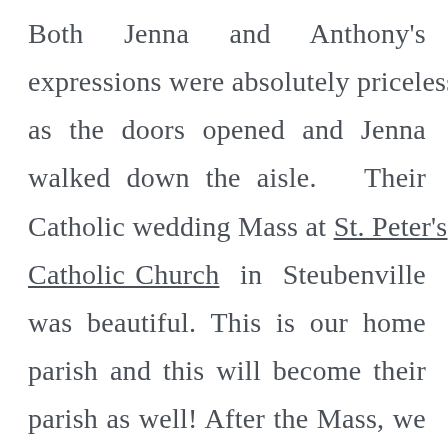Both Jenna and Anthony's expressions were absolutely priceless as the doors opened and Jenna walked down the aisle. Their Catholic wedding Mass at St. Peter's Catholic Church in Steubenville was beautiful. This is our home parish and this will become their parish as well! After the Mass, we took portraits out of 4th street as